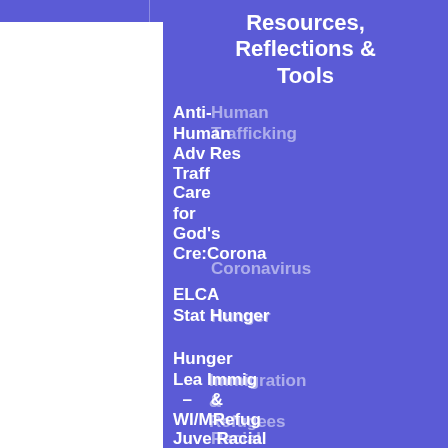Resources, Reflections & Tools
Anti-Human Trafficking / Adv Res
Care for God's Creation / Coronavirus
ELCA Stats / Hunger
Hunger Leaders – WI/MN / Immigration & Refugees
Juvenile Justice / Racial Justice